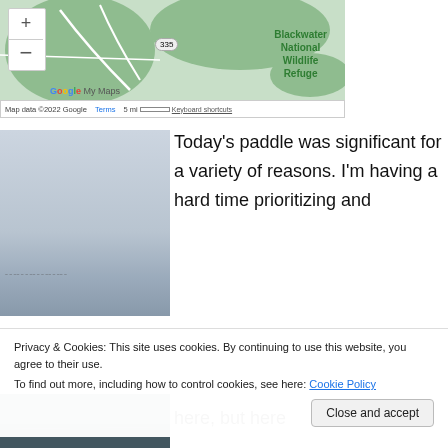[Figure (map): Google My Maps showing Taylors Island area and Blackwater National Wildlife Refuge, Maryland. Map includes zoom controls (+/-) and route lines. Map data ©2022 Google, Terms, 5 mi scale bar, Keyboard shortcuts.]
[Figure (photo): Misty/foggy seascape or bay scene with pale blue-grey sky and water, birds visible in the distance along the horizon line.]
Today's paddle was significant for a variety of reasons. I'm having a hard time prioritizing and
Privacy & Cookies: This site uses cookies. By continuing to use this website, you agree to their use.
To find out more, including how to control cookies, see here: Cookie Policy
here, but here